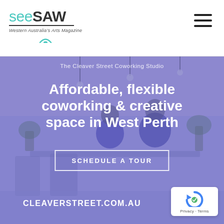[Figure (logo): SeeSaw Western Australia's Arts Magazine logo with teal 'see' and bold dark 'SAW', with tagline 'Western Australia's Arts Magazine' and teal arch icon]
The Cleaver Street Coworking Studio
Affordable, flexible coworking & creative space in West Perth
[Figure (photo): Blue-purple tinted photo of people working in a coworking studio with plants]
SCHEDULE A TOUR
CLEAVERSTREET.COM.AU